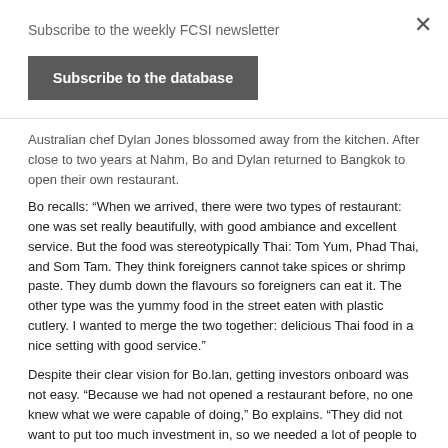Subscribe to the weekly FCSI newsletter
Subscribe to the database
Australian chef Dylan Jones blossomed away from the kitchen. After close to two years at Nahm, Bo and Dylan returned to Bangkok to open their own restaurant.
Bo recalls: “When we arrived, there were two types of restaurant: one was set really beautifully, with good ambiance and excellent service. But the food was stereotypically Thai: Tom Yum, Phad Thai, and Som Tam. They think foreigners cannot take spices or shrimp paste. They dumb down the flavours so foreigners can eat it. The other type was the yummy food in the street eaten with plastic cutlery. I wanted to merge the two together: delicious Thai food in a nice setting with good service.”
Despite their clear vision for Bo.lan, getting investors onboard was not easy. “Because we had not opened a restaurant before, no one knew what we were capable of doing,” Bo explains. “They did not want to put too much investment in, so we needed a lot of people to pitch in to make it happen.” The restaurant now has local and international acclaim. It is one of only five restaurants to make it to the 50 Best Restaurants in Asia, and is proud to be the only Thai restaurant run by a Thai chef to make it to the list.